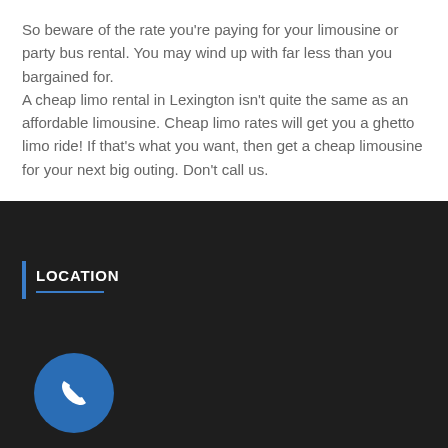So beware of the rate you're paying for your limousine or party bus rental.  You may wind up with far less than you bargained for.
A cheap limo rental in Lexington isn't quite the same as an affordable limousine.  Cheap limo rates will get you a ghetto limo ride!  If that's what you want, then get a cheap limousine for your next big outing.  Don't call us.
LOCATION
[Figure (illustration): Blue circular phone icon button on dark background]